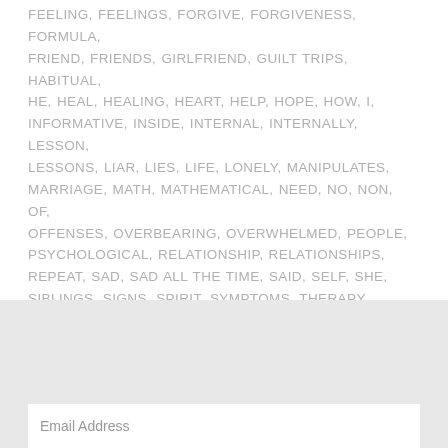FEELING, FEELINGS, FORGIVE, FORGIVENESS, FORMULA, FRIEND, FRIENDS, GIRLFRIEND, GUILT TRIPS, HABITUAL, HE, HEAL, HEALING, HEART, HELP, HOPE, HOW, I, INFORMATIVE, INSIDE, INTERNAL, INTERNALLY, LESSON, LESSONS, LIAR, LIES, LIFE, LONELY, MANIPULATES, MARRIAGE, MATH, MATHEMATICAL, NEED, NO, NON, OF, OFFENSES, OVERBEARING, OVERWHELMED, PEOPLE, PSYCHOLOGICAL, RELATIONSHIP, RELATIONSHIPS, REPEAT, SAD, SAD ALL THE TIME, SAID, SELF, SHE, SIBLINGS, SIGNS, SPIRIT, SYMPTOMS, THERAPY, THINGS, TO, TRUE, TRUST, TRUSTING, TRUSTWORTHY, WANTING OUT, WE, WHAT, WITHDRAWING, WITHDRAWN
10 COMMENTS
Email Address